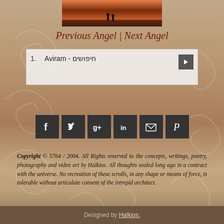[Figure (photo): A sunset or landscape photo at the top of the page showing a reddish-orange sky]
Previous Angel | Next Angel
1. Aviram - חיפושים
[Figure (infographic): Six social media sharing icons: Facebook, Twitter, Google+, LinkedIn, Email, Pinterest - all dark/charcoal square buttons with white icons]
Copyright © 5764 / 2004. All Rights reserved to the concepts, writings, poetry, photography and video art by Halkios. All thoughts sealed long ago in a contract with the universe. No recreation of these scrolls, in any shape or means of force, is tolerable without articulate consent of the intrepid architect.
Designed by Halkios.